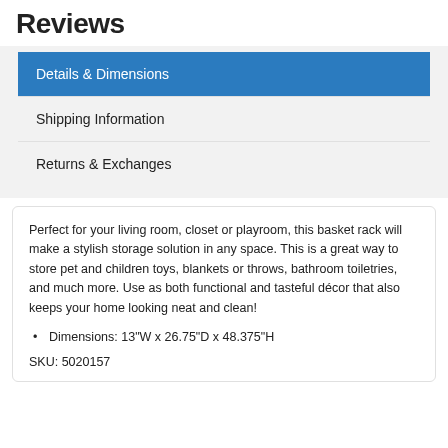Reviews
Details & Dimensions
Shipping Information
Returns & Exchanges
Perfect for your living room, closet or playroom, this basket rack will make a stylish storage solution in any space. This is a great way to store pet and children toys, blankets or throws, bathroom toiletries, and much more. Use as both functional and tasteful décor that also keeps your home looking neat and clean!
Dimensions: 13"W x 26.75"D x 48.375"H
SKU: 5020157